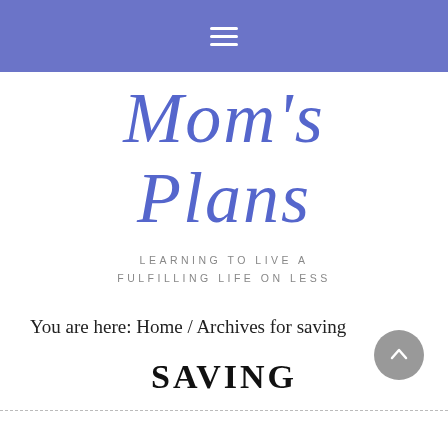≡
Mom's Plans
LEARNING TO LIVE A FULFILLING LIFE ON LESS
You are here: Home / Archives for saving
SAVING